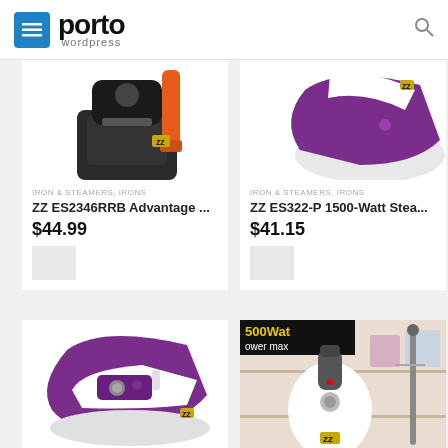porto wordpress
[Figure (photo): Partial view of a clothes steamer with black base and orange/red cord (top portion)]
IRON & STEAMERS, IRONS
ZZ ES2346RRB Advantage ...
$44.99
[Figure (photo): Partial view of a purple and white steam iron (top portion)]
IRON & STEAMERS, IRONS
ZZ ES322-P 1500-Watt Stea...
$41.15
[Figure (photo): Purple and white steam iron facing right on white background]
[Figure (photo): White garment steamer with text 500Wat power max on black banner, clothing rack in background]